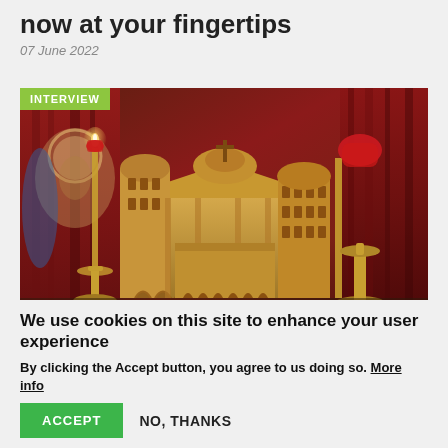now at your fingertips
07 June 2022
[Figure (photo): A wooden scale model of an Orthodox church with domes and a cross, flanked by gold candlesticks with red glass holders, with a religious icon painting visible in the blurred background and dark red curtains. An 'INTERVIEW' badge overlays the top-left corner.]
We use cookies on this site to enhance your user experience
By clicking the Accept button, you agree to us doing so. More info
ACCEPT
NO, THANKS